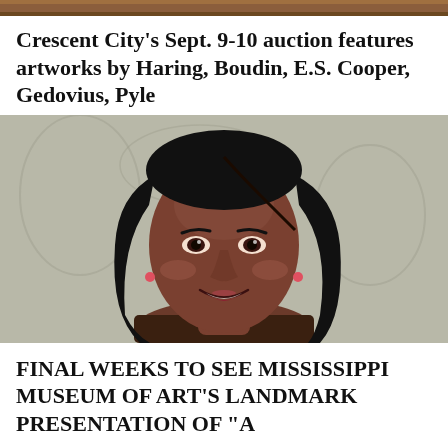[Figure (photo): Partial view of a framed artwork with wooden frame visible at top of page]
Crescent City's Sept. 9-10 auction features artworks by Haring, Boudin, E.S. Cooper, Gedovius, Pyle
[Figure (photo): Professional portrait photo of a smiling Black woman with long straight black hair, wearing red earrings, against a gray patterned background]
FINAL WEEKS TO SEE MISSISSIPPI MUSEUM OF ART'S LANDMARK PRESENTATION OF "A